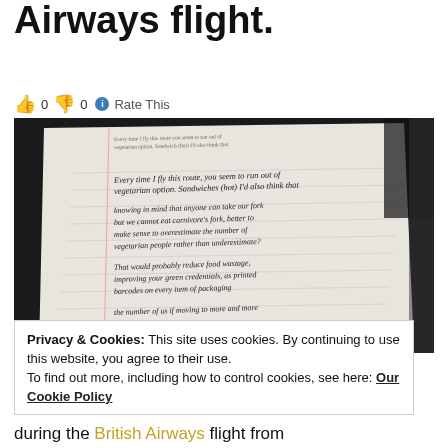Airways flight.
👍 0 👎 0 ℹ Rate This
[Figure (photo): A photograph of an open notebook with handwritten text, taken at an angle during a flight. The handwriting discusses food and vegetarian options on British Airways flights.]
Privacy & Cookies: This site uses cookies. By continuing to use this website, you agree to their use.
To find out more, including how to control cookies, see here: Our Cookie Policy
Close and accept
during the British Airways flight from